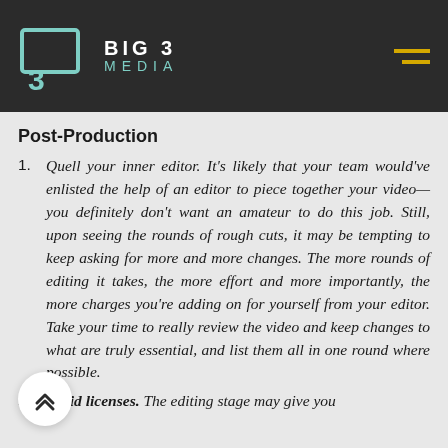BIG 3 MEDIA
Post-Production
Quell your inner editor. It's likely that your team would've enlisted the help of an editor to piece together your video—you definitely don't want an amateur to do this job. Still, upon seeing the rounds of rough cuts, it may be tempting to keep asking for more and more changes. The more rounds of editing it takes, the more effort and more importantly, the more charges you're adding on for yourself from your editor. Take your time to really review the video and keep changes to what are truly essential, and list them all in one round where possible.
Avoid licenses. The editing stage may give you the...